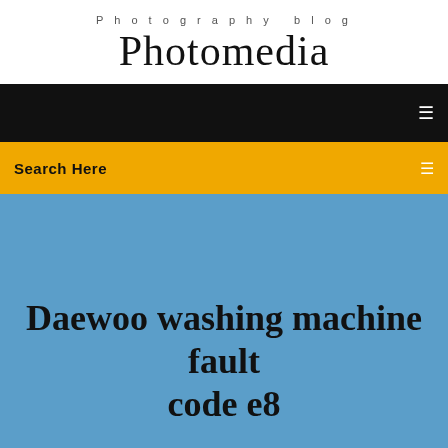Photography blog
Photomedia
[Figure (screenshot): Black navigation bar with menu icon on the right]
Search Here
Daewoo washing machine fault code e8